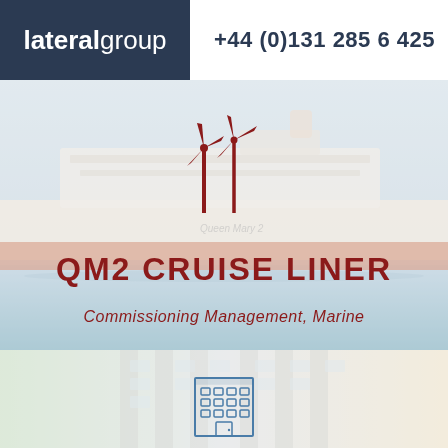[Figure (logo): Lateral Group logo — white text on dark navy background with 'lateral' in regular weight and 'group' in bold]
+44 (0)131 285 6425
[Figure (photo): QM2 cruise liner ship at sea, partially washed out/faded, with two red wind turbine icons overlaid in the center]
QM2 CRUISE LINER
Commissioning Management, Marine
[Figure (photo): Modern multi-storey building exterior with glass windows, faded/washed out, with a blue building icon overlaid at bottom center]